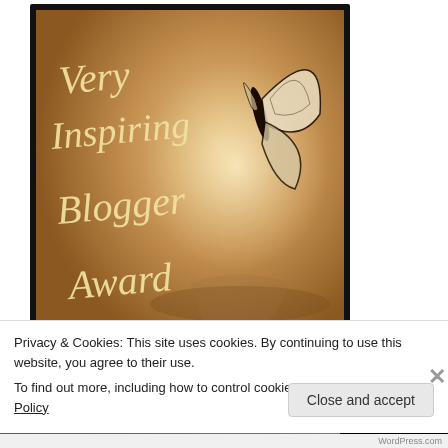[Figure (illustration): Very Inspiring Blogger Award image: dark-bordered image with warm brown background, a butterfly illustration on the right, and italic script text reading 'Very Inspiring Blogger Award' on the left in gold/cream color.]
[Figure (screenshot): Partial screenshot of a rounded blue widget/badge element, partially obscured by the cookie consent banner.]
Privacy & Cookies: This site uses cookies. By continuing to use this website, you agree to their use.
To find out more, including how to control cookies, see here: Cookie Policy
Close and accept